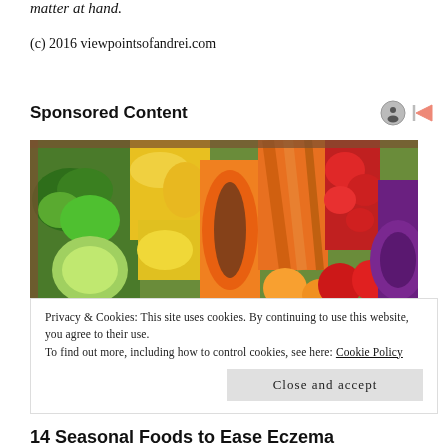matter at hand.
(c) 2016 viewpointsofandrei.com
Sponsored Content
[Figure (photo): Colorful arrangement of fresh vegetables and fruits including broccoli, cabbage, papaya, carrots, oranges, strawberries, red peppers, and red cabbage on a wooden tray.]
Privacy & Cookies: This site uses cookies. By continuing to use this website, you agree to their use.
To find out more, including how to control cookies, see here: Cookie Policy
Close and accept
14 Seasonal Foods to Ease Eczema